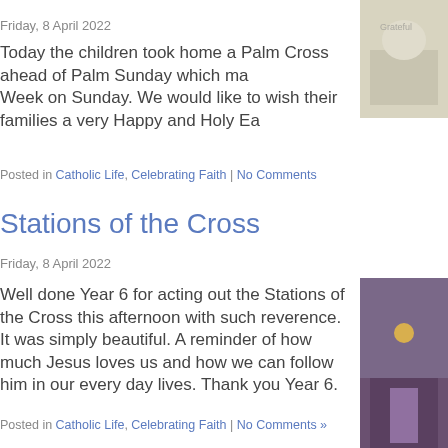Friday, 8 April 2022
Today the children took home a Palm Cross ahead of Palm Sunday which marks Holy Week on Sunday. We would like to wish their families a very Happy and Holy Ea
Posted in Catholic Life, Celebrating Faith | No Comments
Stations of the Cross
Friday, 8 April 2022
Well done Year 6 for acting out the Stations of the Cross this afternoon with such reverence. It was simply beautiful. A reminder of how much Jesus loves us and how we can follow him in our every day lives. Thank you Year 6.
Posted in Catholic Life, Celebrating Faith | No Comments »